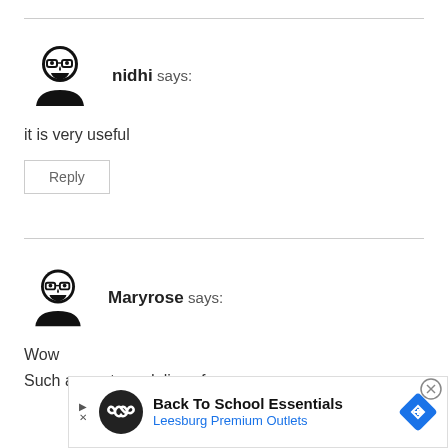[Figure (illustration): Avatar icon of a person with glasses for commenter nidhi]
nidhi says:
it is very useful
Reply
[Figure (illustration): Avatar icon of a person with glasses for commenter Maryrose]
Maryrose says:
Wow
Such a great guodelines for us
[Figure (other): Advertisement banner: Back To School Essentials - Leesburg Premium Outlets]